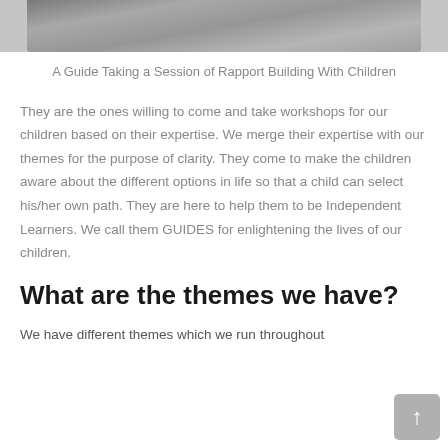[Figure (photo): Group photo strip showing children and adults from waist down, cropped at top of image]
A Guide Taking a Session of Rapport Building With Children
They are the ones willing to come and take workshops for our children based on their expertise. We merge their expertise with our themes for the purpose of clarity. They come to make the children aware about the different options in life so that a child can select his/her own path. They are here to help them to be Independent Learners. We call them GUIDES for enlightening the lives of our children.
What are the themes we have?
We have different themes which we run throughout